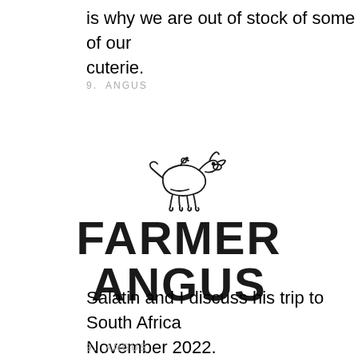is why we are out of stock of some of our cuterie.
9. ANGUS
[Figure (logo): Farmer Angus logo: a line-art drawing of a cow/bull above bold text reading FARMER ANGUS]
Salatin and I discuss his trip to South Africa November 2022.
9. ANGUS